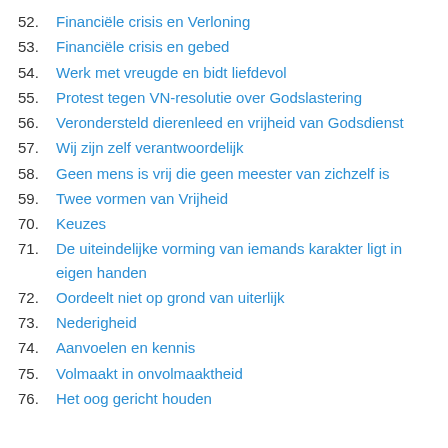52. Financiële crisis en Verloning
53. Financiële crisis en gebed
54. Werk met vreugde en bidt liefdevol
55. Protest tegen VN-resolutie over Godslastering
56. Verondersteld dierenleed en vrijheid van Godsdienst
57. Wij zijn zelf verantwoordelijk
58. Geen mens is vrij die geen meester van zichzelf is
59. Twee vormen van Vrijheid
70. Keuzes
71. De uiteindelijke vorming van iemands karakter ligt in eigen handen
72. Oordeelt niet op grond van uiterlijk
73. Nederigheid
74. Aanvoelen en kennis
75. Volmaakt in onvolmaaktheid
76. Het oog gericht houden